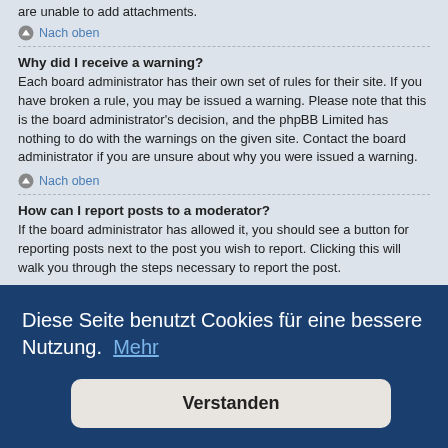are unable to add attachments.
Nach oben
Why did I receive a warning?
Each board administrator has their own set of rules for their site. If you have broken a rule, you may be issued a warning. Please note that this is the board administrator's decision, and the phpBB Limited has nothing to do with the warnings on the given site. Contact the board administrator if you are unsure about why you were issued a warning.
Nach oben
How can I report posts to a moderator?
If the board administrator has allowed it, you should see a button for reporting posts next to the post you wish to report. Clicking this will walk you through the steps necessary to report the post.
date. To
Diese Seite benutzt Cookies für eine bessere Nutzung.  Mehr
Verstanden